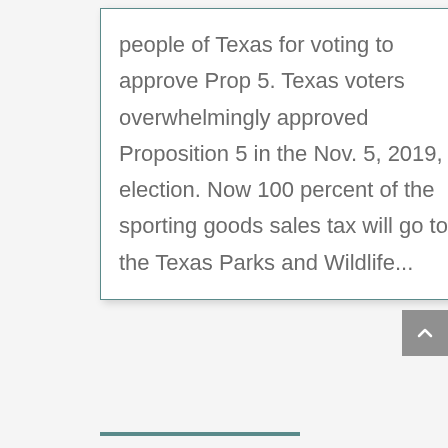people of Texas for voting to approve Prop 5. Texas voters overwhelmingly approved Proposition 5 in the Nov. 5, 2019, election. Now 100 percent of the sporting goods sales tax will go to the Texas Parks and Wildlife...